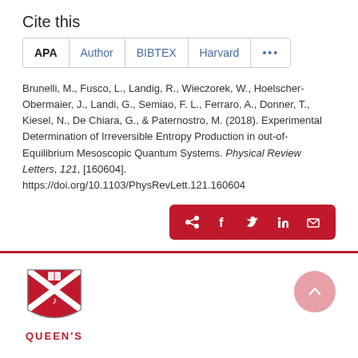Cite this
Brunelli, M., Fusco, L., Landig, R., Wieczorek, W., Hoelscher-Obermaier, J., Landi, G., Semiao, F. L., Ferraro, A., Donner, T., Kiesel, N., De Chiara, G., & Paternostro, M. (2018). Experimental Determination of Irreversible Entropy Production in out-of-Equilibrium Mesoscopic Quantum Systems. Physical Review Letters, 121, [160604]. https://doi.org/10.1103/PhysRevLett.121.160604
[Figure (other): Social share buttons bar with share, Facebook, Twitter, LinkedIn, and email icons on red background]
[Figure (logo): Queen's University shield logo in red and white with QUEEN'S text below]